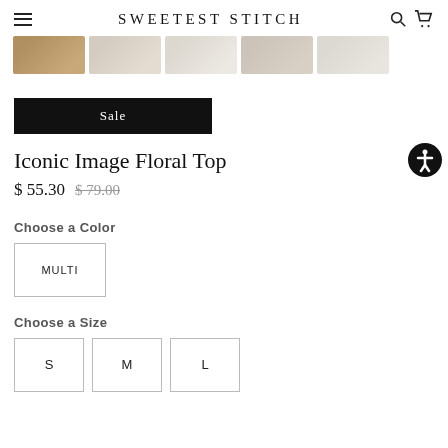SWEETEST STITCH
[Figure (photo): Five thumbnail images of a floral top product in various angles/views, light beige/cream tones]
Sale
Iconic Image Floral Top
$ 55.30  $ 79.00
Choose a Color
MULTI
Choose a Size
S  M  L